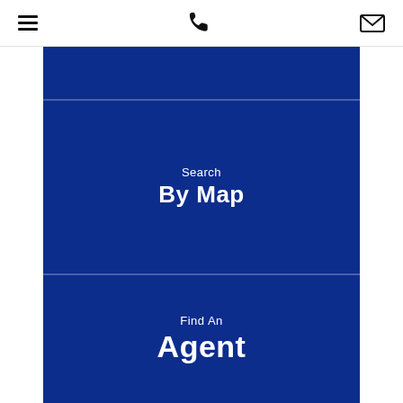Menu | Phone | Email icons
[Figure (screenshot): Dark blue banner strip near top]
Search
By Map
Find An
Agent